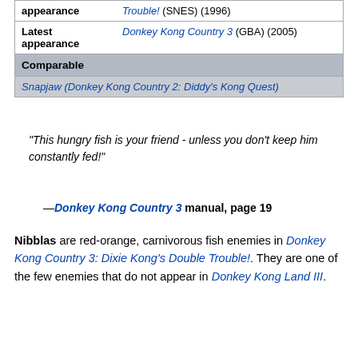| appearance | Trouble! (SNES) (1996) |
| Latest appearance | Donkey Kong Country 3 (GBA) (2005) |
| Comparable |  |
|  | Snapjaw (Donkey Kong Country 2: Diddy's Kong Quest) |
“This hungry fish is your friend - unless you don't keep him constantly fed!”
—Donkey Kong Country 3 manual, page 19
Nibblas are red-orange, carnivorous fish enemies in Donkey Kong Country 3: Dixie Kong's Double Trouble!. They are one of the few enemies that do not appear in Donkey Kong Land III.